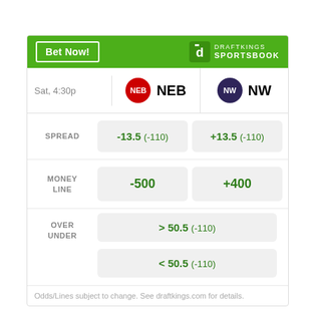[Figure (infographic): DraftKings Sportsbook betting odds widget for NEB vs NW game on Saturday 4:30p, showing spread, money line, and over/under odds.]
Odds/Lines subject to change. See draftkings.com for details.